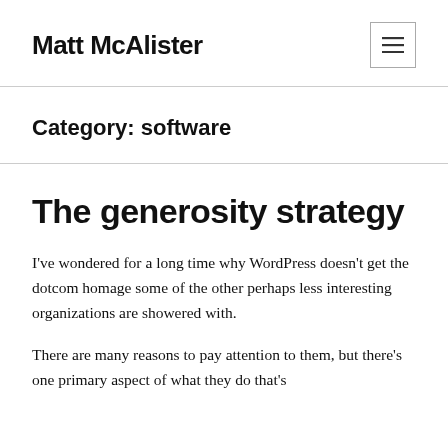Matt McAlister
Category: software
The generosity strategy
I've wondered for a long time why WordPress doesn't get the dotcom homage some of the other perhaps less interesting organizations are showered with.
There are many reasons to pay attention to them, but there's one primary aspect of what they do that's